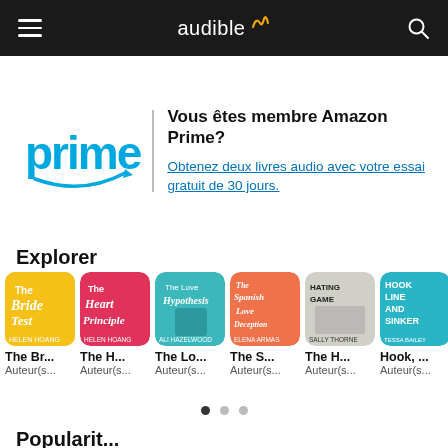audible (header navigation with hamburger menu and search icon)
[Figure (screenshot): Amazon Prime membership banner with Prime logo and text: Vous êtes membre Amazon Prime? Obtenez deux livres audio avec votre essai gratuit de 30 jours.]
Explorer
[Figure (screenshot): Six audiobook covers in a horizontal row: The Bride Test, The Heart Principle, The Love Hypothesis, The Spanish Love Deception, The Hating Game, Hook Line and Sinker]
The Br...
Auteur(s...
The H...
Auteur(s...
The Lo...
Auteur(s...
The S...
Auteur(s...
The H...
Auteur(s...
Hook, ...
Auteur(s...
Popularit...